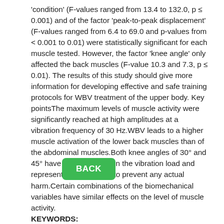'condition' (F-values ranged from 13.4 to 132.0, p ≤ 0.001) and of the factor 'peak-to-peak displacement' (F-values ranged from 6.4 to 69.0 and p-values from < 0.001 to 0.01) were statistically significant for each muscle tested. However, the factor 'knee angle' only affected the back muscles (F-value 10.3 and 7.3, p ≤ 0.01). The results of this study should give more information for developing effective and safe training protocols for WBV treatment of the upper body. Key pointsThe maximum levels of muscle activity were significantly reached at high amplitudes at a vibration frequency of 30 Hz.WBV leads to a higher muscle activation of the lower back muscles than of the abdominal muscles.Both knee angles of 30° and 45° have similar effects on the vibration load and represent safe positions to prevent any actual harm.Certain combinations of the biomechanical variables have similar effects on the level of muscle activity. KEYWORDS: Vibration; electromyography; paraspinal muscles; torso PMID: 25729303
BACK